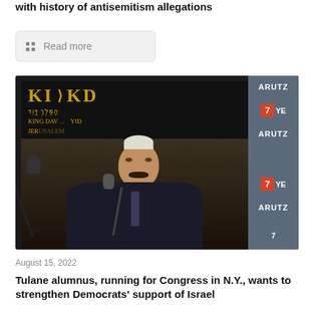with history of antisemitism allegations
Read more
[Figure (photo): Man with mustache and kippah speaking at microphones in front of a King David backdrop, with an Arutz 7 banner visible on the right side.]
August 15, 2022
Tulane alumnus, running for Congress in N.Y., wants to strengthen Democrats' support of Israel